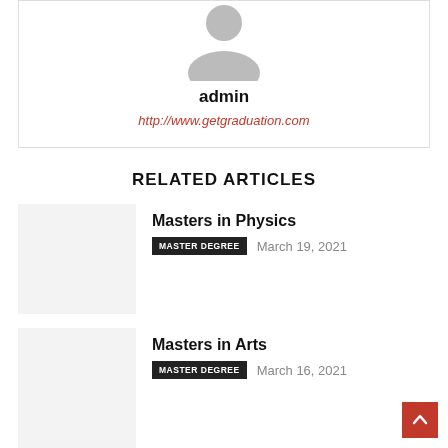[Figure (illustration): Default user avatar silhouette in gray]
admin
http://www.getgraduation.com
RELATED ARTICLES
[Figure (illustration): Thumbnail placeholder for Masters in Physics article]
Masters in Physics
MASTER DEGREE   March 19, 2021
[Figure (illustration): Thumbnail placeholder for Masters in Arts article]
Masters in Arts
MASTER DEGREE   March 16, 2021